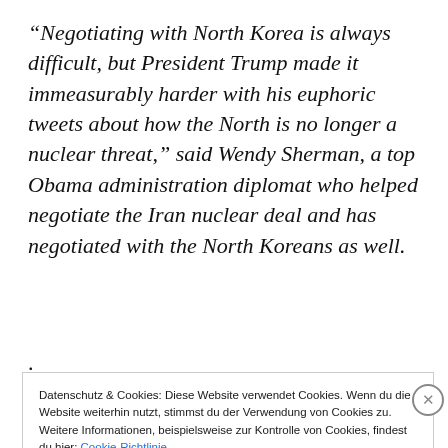“Negotiating with North Korea is always difficult, but President Trump made it immeasurably harder with his euphoric tweets about how the North is no longer a nuclear threat,” said Wendy Sherman, a top Obama administration diplomat who helped negotiate the Iran nuclear deal and has negotiated with the North Koreans as well.
.
Datenschutz & Cookies: Diese Website verwendet Cookies. Wenn du die Website weiterhin nutzt, stimmst du der Verwendung von Cookies zu. Weitere Informationen, beispielsweise zur Kontrolle von Cookies, findest du hier: Cookie-Richtlinie